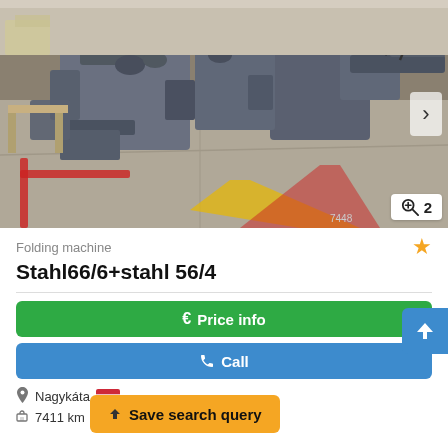[Figure (photo): Industrial folding machine equipment in a warehouse/factory floor setting. Two large machines visible, concrete floor with red and yellow markings. Image counter badge showing magnifier icon and '2' in bottom right corner.]
Folding machine
Stahl66/6+stahl 56/4
€ Price info
✆ Call
Nagykáta 🇭🇺
7411 km
Save search query